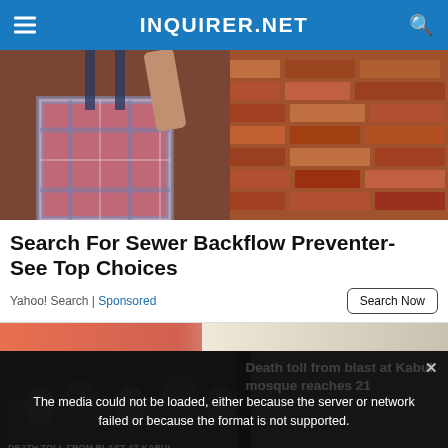INQUIRER.NET
[Figure (photo): Person in plaid shirt near a brick wall]
Search For Sewer Backflow Preventer- See Top Choices
Yahoo! Search | Sponsored   Search Now
[Figure (screenshot): Webpage screenshot showing a video player with error message 'The media could not be loaded, either because the server or network failed or because the format is not supported.' overlaid over news content about 'Death toll from blast at Kabul mosque reaches 21' with close button X]
The media could not be loaded, either because the server or network failed or because the format is not supported.
Death toll from blast at Kabul mosque reaches 21
DEATH TOLL FROM BLAST AT KABUL MOSQUE REACHES 21